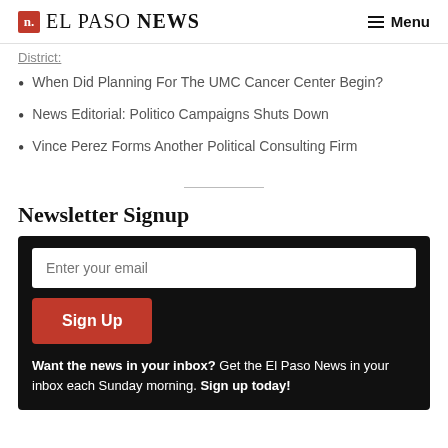n. EL PASO NEWS  Menu
When Did Planning For The UMC Cancer Center Begin?
News Editorial: Politico Campaigns Shuts Down
Vince Perez Forms Another Political Consulting Firm
Newsletter Signup
Enter your email
Sign Up
Want the news in your inbox? Get the El Paso News in your inbox each Sunday morning. Sign up today!